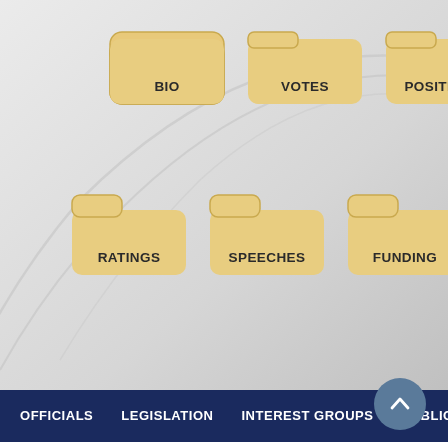[Figure (screenshot): Navigation icons section showing six folder-style icons labeled BIO, VOTES, POSITIONS, RATINGS, SPEECHES, FUNDING on a gray gradient background with decorative swoosh lines]
OFFICIALS   LEGISLATION   INTEREST GROUPS   PUBLIC STATI
Rep. Ami Bera's Statement on Russia-Iran-North Korea Sanctions Bill
Statement